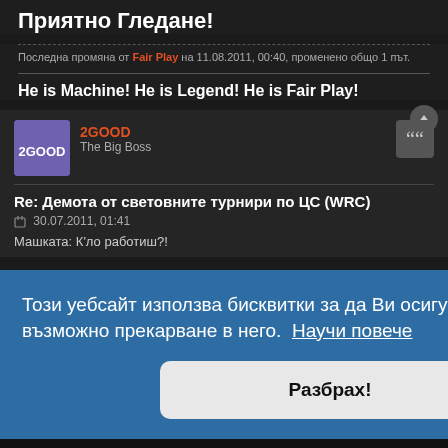Приятно Гледане!
Последна промяна от Fair Play на 11.08.2011, 00:40, променено общо 1 път.
He is Machine! He is Legend! He is Fair Play!
2GOOD
The Big Boss
Re: Демота от световните турнири по ЦС (WRC)
30.07.2011, 01:41
Машката: К'ло работиш?!
Този уебсайт използва бисквитки за да Ви осигури най-доброто възможно прекарване в него.  Научи повече
Разбрах!